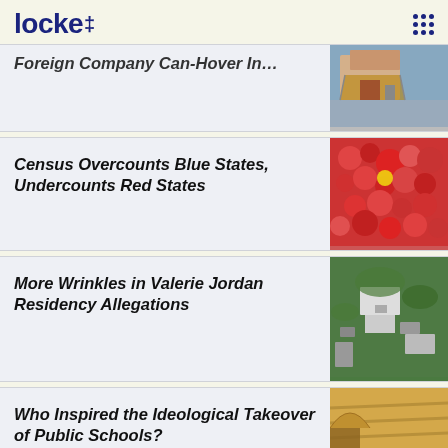locke
Foreign Company Can-Hover In…
Census Overcounts Blue States, Undercounts Red States
More Wrinkles in Valerie Jordan Residency Allegations
Who Inspired the Ideological Takeover of Public Schools?